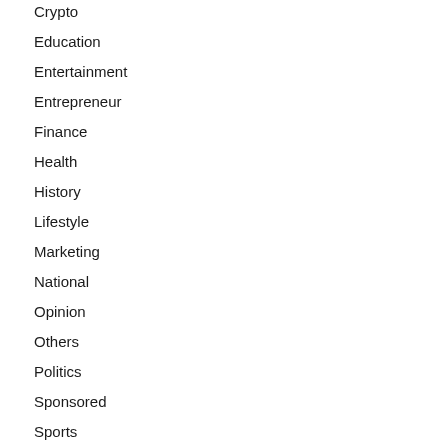Crypto
Education
Entertainment
Entrepreneur
Finance
Health
History
Lifestyle
Marketing
National
Opinion
Others
Politics
Sponsored
Sports